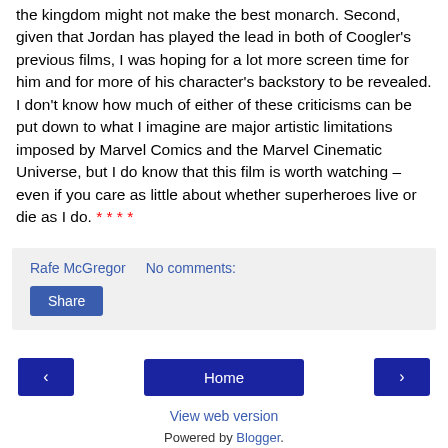the kingdom might not make the best monarch. Second, given that Jordan has played the lead in both of Coogler's previous films, I was hoping for a lot more screen time for him and for more of his character's backstory to be revealed. I don't know how much of either of these criticisms can be put down to what I imagine are major artistic limitations imposed by Marvel Comics and the Marvel Cinematic Universe, but I do know that this film is worth watching – even if you care as little about whether superheroes live or die as I do. ****
Rafe McGregor    No comments:
Share
◄
Home
►
View web version
Powered by Blogger.